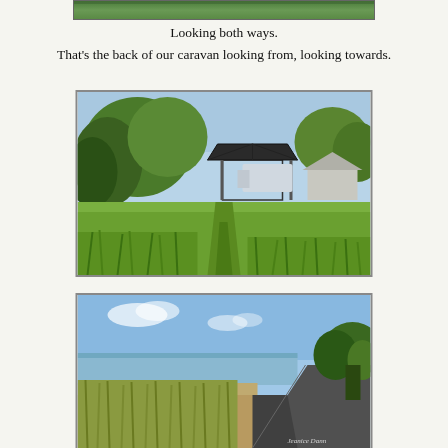[Figure (photo): Top partial photo of outdoor scene, cropped at top of page]
Looking both ways.
That's the back of our caravan looking from, looking towards.
[Figure (photo): Photo of a grassy path leading to a gazebo/pergola structure with a caravan visible behind it, surrounded by trees and green vegetation]
[Figure (photo): Photo of a coastal path/walkway alongside a beach with tall grass, blue sky with light clouds, and trees on the right side. Watermark text partially visible in bottom right corner.]